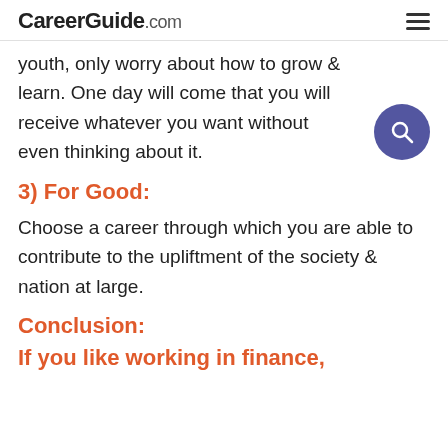CareerGuide.com
youth, only worry about how to grow & learn. One day will come that you will receive whatever you want without even thinking about it.
3) For Good:
Choose a career through which you are able to contribute to the upliftment of the society & nation at large.
Conclusion:
If you like working in finance,